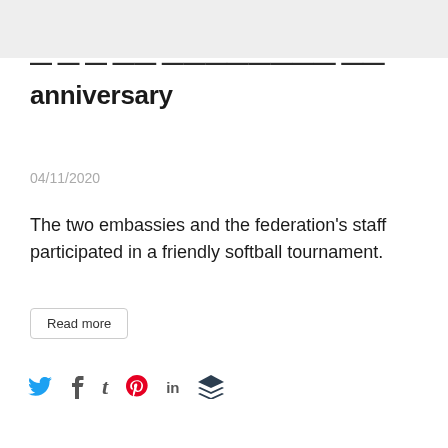anniversary
04/11/2020
The two embassies and the federation's staff participated in a friendly softball tournament.
Read more
[Figure (other): Social media share icons: Twitter (blue bird), Facebook (f), Tumblr (t), Pinterest (P), LinkedIn (in), Buffer (layers icon)]